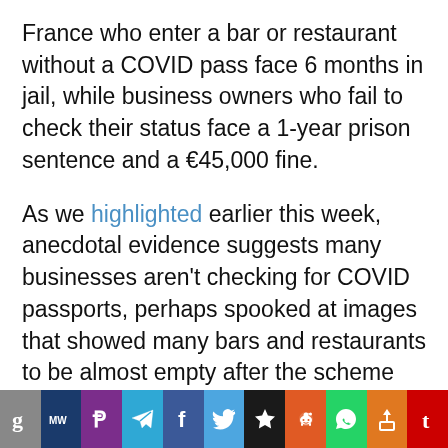France who enter a bar or restaurant without a COVID pass face 6 months in jail, while business owners who fail to check their status face a 1-year prison sentence and a €45,000 fine.
As we highlighted earlier this week, anecdotal evidence suggests many businesses aren't checking for COVID passports, perhaps spooked at images that showed many bars and restaurants to be almost empty after the scheme began.
[Figure (other): Social media sharing bar with icons for Goodreads, MeWe, Parler, Telegram, Facebook, Twitter, Digg/Favorites, Reddit, WhatsApp, Unspecified, and Tumblr]